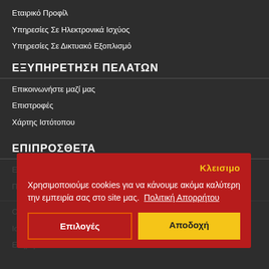Εταιρικό Προφίλ
Υπηρεσίες Σε Ηλεκτρονικά Ισχύος
Υπηρεσίες Σε Δικτυακό Εξοπλισμό
ΕΞΥΠΗΡΕΤΗΣΗ ΠΕΛΑΤΩΝ
Επικοινωνήστε μαζί μας
Επιστροφές
Χάρτης Ιστότοπου
ΕΠΙΠΡΟΣΘΕΤΑ
Κλεισιμο
Χρησιμοποιούμε cookies για να κάνουμε ακόμα καλύτερη την εμπειρία σας στο site μας. Πολιτική Απορρήτου
Επιλογές
Αποδοχή